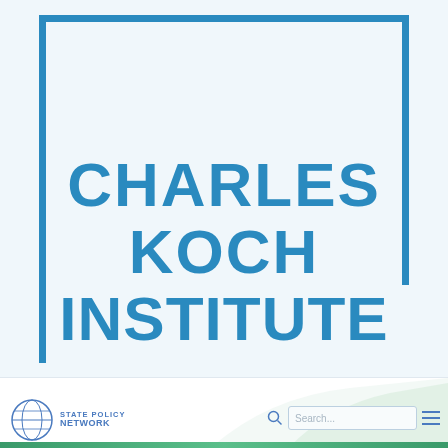[Figure (logo): Charles Koch Institute logo: blue L-shaped partial border (top and left and partial right) with bold blue text reading CHARLES KOCH INSTITUTE on three lines]
[Figure (logo): State Policy Network logo: circular globe icon with 'STATE POLICY NETWORK' text]
[Figure (screenshot): Website navigation footer bar with State Policy Network logo on left, search icon and input field in center-right, and hamburger menu icon on far right]